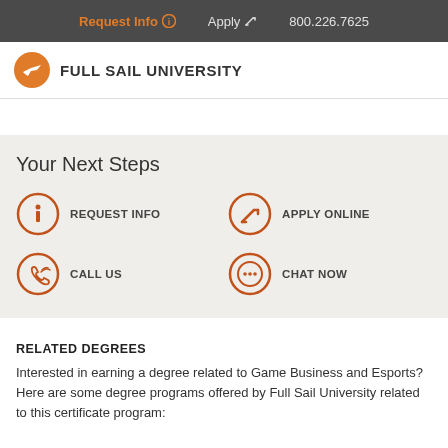Request Info  Apply  800.226.7625
[Figure (logo): Full Sail University logo: orange circle with white airplane silhouette, followed by bold uppercase text FULL SAIL UNIVERSITY]
Your Next Steps
REQUEST INFO
APPLY ONLINE
CALL US
CHAT NOW
RELATED DEGREES
Interested in earning a degree related to Game Business and Esports? Here are some degree programs offered by Full Sail University related to this certificate program: